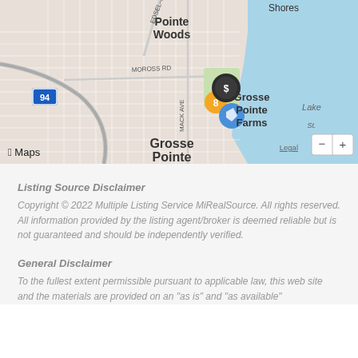[Figure (map): Apple Maps screenshot showing Grosse Pointe Farms and Grosse Pointe area near Lake St. Clair, Detroit Michigan. Shows Pointe Woods label in upper area, Shores label top right, Grosse Pointe Farms label center-right, Grosse Pointe label center-bottom, I-94 highway marker left, Moross Rd, Mack Ave, Edsel road labels. Map includes location pins, zoom controls (minus and plus buttons), Legal link, and Apple Maps logo.]
Listing Source Disclaimer
Copyright © 2022 Multiple Listing Service MiRealSource. All rights reserved. All information provided by the listing agent/broker is deemed reliable but is not guaranteed and should be independently verified.
General Disclaimer
To the fullest extent permissible pursuant to applicable law, this web site and the materials are provided on an "as is" and "as available"